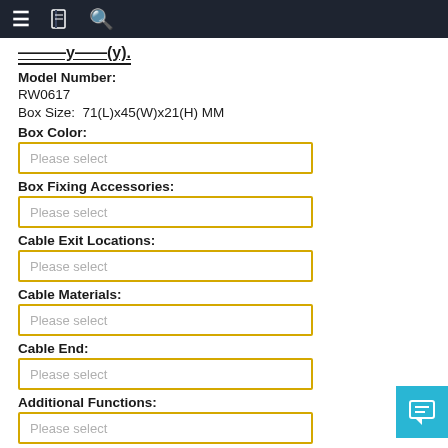Navigation bar with menu, book, and search icons
...y...(y).
Model Number:
RW0617
Box Size:  71(L)x45(W)x21(H) MM
Box Color:
Box Fixing Accessories:
Cable Exit Locations:
Cable Materials:
Cable End:
Additional Functions:
Retractable Cable Length:
Cable Retracting Force: